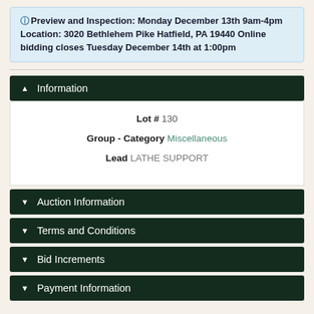Preview and Inspection: Monday December 13th 9am-4pm Location: 3020 Bethlehem Pike Hatfield, PA 19440 Online bidding closes Tuesday December 14th at 1:00pm
Information
Lot # 130
Group - Category Miscellaneous
Lead LATHE SUPPORT
Auction Information
Terms and Conditions
Bid Increments
Payment Information